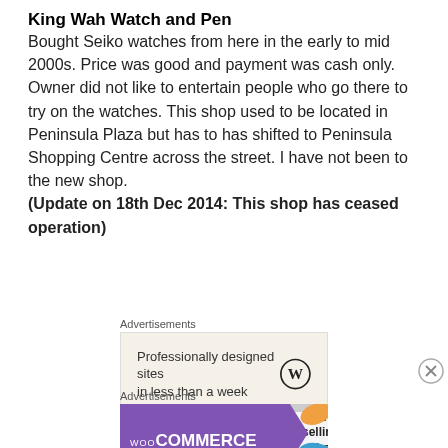King Wah Watch and Pen
Bought Seiko watches from here in the early to mid 2000s. Price was good and payment was cash only. Owner did not like to entertain people who go there to try on the watches. This shop used to be located in Peninsula Plaza but has to has shifted to Peninsula Shopping Centre across the street. I have not been to the new shop. (Update on 18th Dec 2014: This shop has ceased operation)
[Figure (other): Advertisement banner: WordPress ad - Professionally designed sites in less than a week]
[Figure (other): Advertisement banner: WooCommerce - How to start selling subscriptions online]